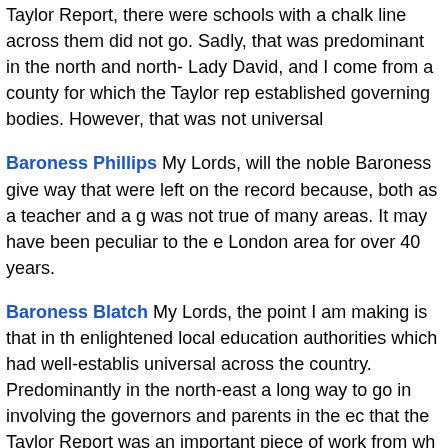Taylor Report, there were schools with a chalk line across the— did not go. Sadly, that was predominant in the north and north- Lady David, and I come from a county for which the Taylor rep established governing bodies. However, that was not universal
Baroness Phillips My Lords, will the noble Baroness give way that were left on the record because, both as a teacher and a g was not true of many areas. It may have been peculiar to the e London area for over 40 years.
Baroness Blatch My Lords, the point I am making is that in th enlightened local education authorities which had well-establis universal across the country. Predominantly in the north-east a long way to go in involving the governors and parents in the ec that the Taylor Report was an important piece of work from wh well-established right across the country.
It was the 1986 Act which established new style governing boo LEA dominance and allowing for those representing parents, th of LEA appointees to co-opt the largest single group of govern school. This ensures that local business and others with a clos have a say in its development.